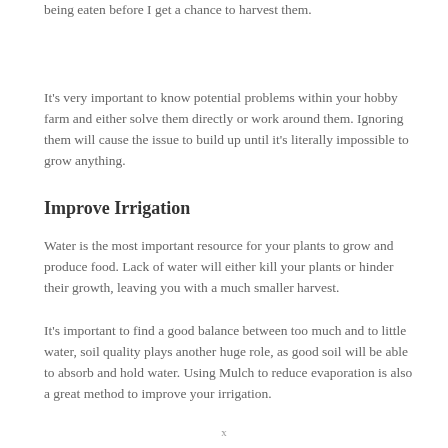being eaten before I get a chance to harvest them.
It's very important to know potential problems within your hobby farm and either solve them directly or work around them. Ignoring them will cause the issue to build up until it's literally impossible to grow anything.
Improve Irrigation
Water is the most important resource for your plants to grow and produce food. Lack of water will either kill your plants or hinder their growth, leaving you with a much smaller harvest.
It's important to find a good balance between too much and to little water, soil quality plays another huge role, as good soil will be able to absorb and hold water. Using Mulch to reduce evaporation is also a great method to improve your irrigation.
x